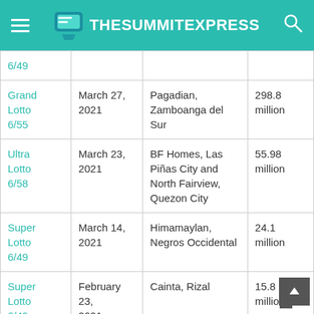TheSummitExpress
| Game | Date | Location | Prize |
| --- | --- | --- | --- |
| 6/49 |  |  |  |
| Grand Lotto 6/55 | March 27, 2021 | Pagadian, Zamboanga del Sur | 298.8 million |
| Ultra Lotto 6/58 | March 23, 2021 | BF Homes, Las Piñas City and North Fairview, Quezon City | 55.98 million |
| Super Lotto 6/49 | March 14, 2021 | Himamaylan, Negros Occidental | 24.1 million |
| Super Lotto 6/49 | February 23, 2021 | Cainta, Rizal | 15.8 million |